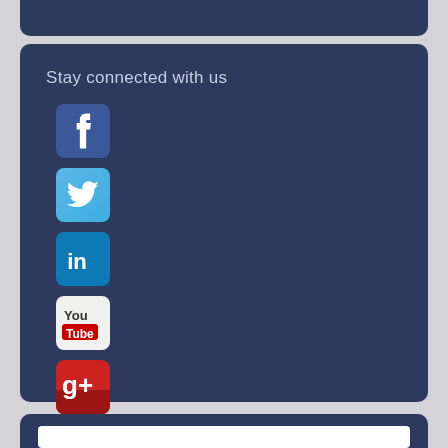Stay connected with us
[Figure (illustration): Facebook icon - blue rounded square with white 'f' letter]
[Figure (illustration): Twitter icon - light blue rounded square with white bird logo]
[Figure (illustration): LinkedIn icon - dark blue rounded square with white 'in' text]
[Figure (illustration): YouTube icon - white rounded square with 'You Tube' red and black text]
[Figure (illustration): Google+ icon - red and dark red rounded square with white 'g+' logo]